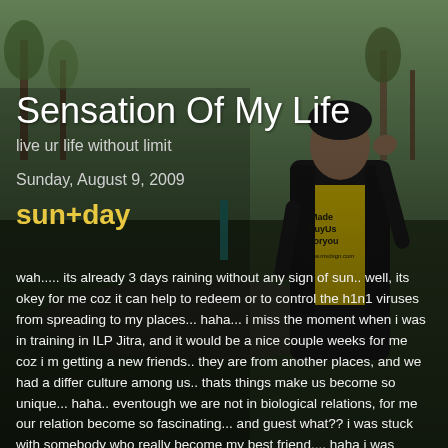[Figure (photo): Background photo of a young man wearing a yellow t-shirt and black jacket, posed outdoors in a park setting with trees and grass visible]
Sensation Of My Life
live ur life without limit
Sunday, August 9, 2009
sun+day
wah..... its already 3 days raining without any sign of sun.. well, its okey for me coz it can help to redeem or to control the h1n1 viruses from spreading to my places... haha... i miss the moment when i was in training in ILP Jitra, and it would be a nice couple weeks for me coz i m getting a new friends.. they are from another places, and we had a differ culture among us.. thats things make us become so unique... haha.. eventough we are not in biological relations, for me our relation become so fascinating... and guest what?? i was stuck with somebody who really become my best friend.... haha i was hoping that that